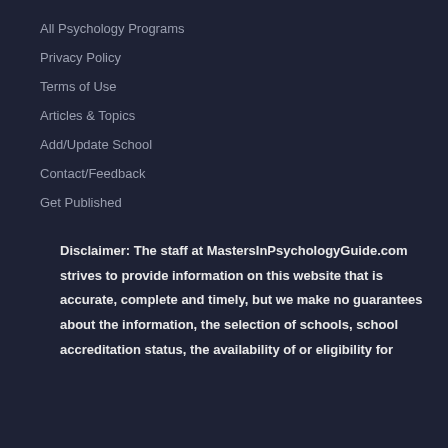All Psychology Programs
Privacy Policy
Terms of Use
Articles & Topics
Add/Update School
Contact/Feedback
Get Published
Disclaimer: The staff at MastersInPsychologyGuide.com strives to provide information on this website that is accurate, complete and timely, but we make no guarantees about the information, the selection of schools, school accreditation status, the availability of or eligibility for